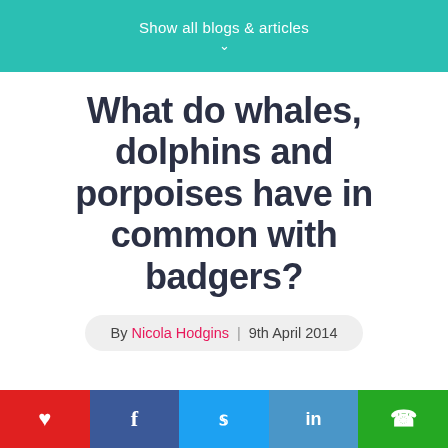Show all blogs & articles
What do whales, dolphins and porpoises have in common with badgers?
By Nicola Hodgins | 9th April 2014